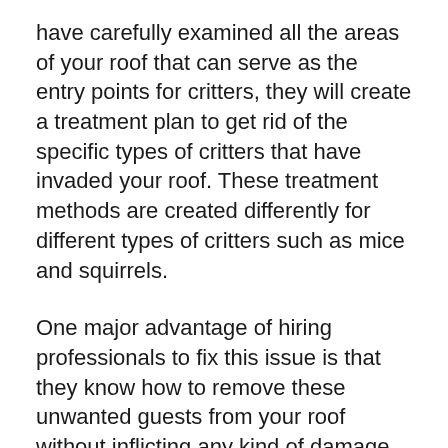have carefully examined all the areas of your roof that can serve as the entry points for critters, they will create a treatment plan to get rid of the specific types of critters that have invaded your roof. These treatment methods are created differently for different types of critters such as mice and squirrels.
One major advantage of hiring professionals to fix this issue is that they know how to remove these unwanted guests from your roof without inflicting any kind of damage to your roof.
Once you’re certain that your roof is completely free from critters, your roofing experts will start working on restoring your roof to its original condition. They will